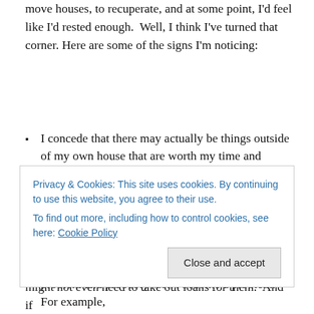move houses, to recuperate, and at some point, I'd feel like I'd rested enough.  Well, I think I've turned that corner. Here are some of the signs I'm noticing:
I concede that there may actually be things outside of my own house that are worth my time and attention.
I'm wanting to see people.
I'm wanting to create things, try new things, learn things, build things.
I'm fretting about things that aren't actually a problem and probably won't become a problem. For example,
Privacy & Cookies: This site uses cookies. By continuing to use this website, you agree to their use. To find out more, including how to control cookies, see here: Cookie Policy
might not even need to take out loans for them.  And if